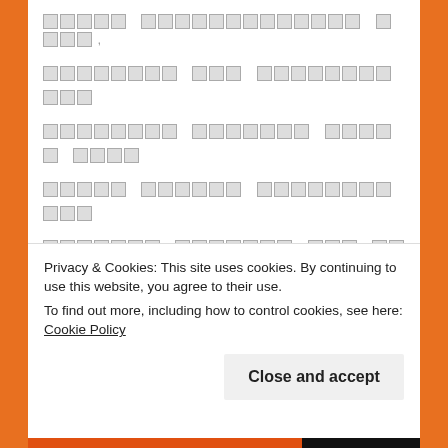[glitched/garbled text - unreadable due to font rendering issue]
[garbled text line 1]
[garbled text line 2]
[garbled text line 3]
[garbled text line 4]
[garbled text line 5]
[garbled text line 6]
[garbled text line 7]
[garbled text line 8]
[garbled text line 9]
[garbled text line 10]
Privacy & Cookies: This site uses cookies. By continuing to use this website, you agree to their use. To find out more, including how to control cookies, see here: Cookie Policy
Close and accept